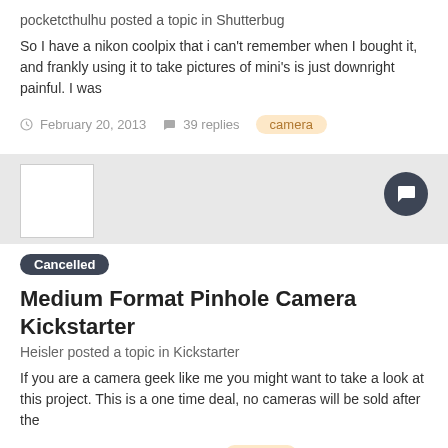pocketcthulhu posted a topic in Shutterbug
So I have a nikon coolpix that i can't remember when I bought it, and frankly using it to take pictures of mini's is just downright painful. I was
February 20, 2013   39 replies   camera
[Figure (screenshot): Avatar placeholder box (white square with border)]
Cancelled Medium Format Pinhole Camera Kickstarter
Heisler posted a topic in Kickstarter
If you are a camera geek like me you might want to take a look at this project. This is a one time deal, no cameras will be sold after the
March 8, 2013   4 replies   camera
Home   Search